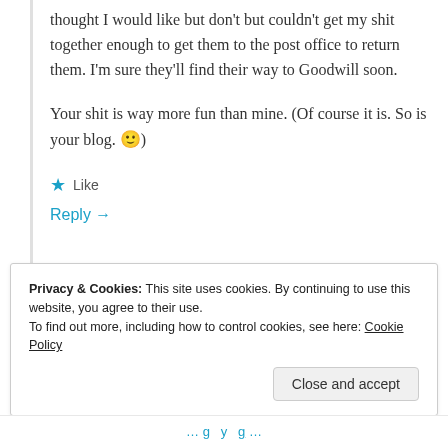thought I would like but don't but couldn't get my shit together enough to get them to the post office to return them. I'm sure they'll find their way to Goodwill soon.
Your shit is way more fun than mine. (Of course it is. So is your blog. 🙂)
★ Like
Reply →
Privacy & Cookies: This site uses cookies. By continuing to use this website, you agree to their use.
To find out more, including how to control cookies, see here: Cookie Policy
Close and accept